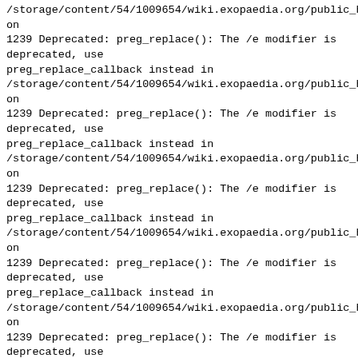/storage/content/54/1009654/wiki.exopaedia.org/public_html/wiki/pmwiki.php on 1239 Deprecated: preg_replace(): The /e modifier is deprecated, use preg_replace_callback instead in /storage/content/54/1009654/wiki.exopaedia.org/public_html/wiki/pmwiki.php on 1239 Deprecated: preg_replace(): The /e modifier is deprecated, use preg_replace_callback instead in /storage/content/54/1009654/wiki.exopaedia.org/public_html/wiki/pmwiki.php on 1239 Deprecated: preg_replace(): The /e modifier is deprecated, use preg_replace_callback instead in /storage/content/54/1009654/wiki.exopaedia.org/public_html/wiki/pmwiki.php on 1239 Deprecated: preg_replace(): The /e modifier is deprecated, use preg_replace_callback instead in /storage/content/54/1009654/wiki.exopaedia.org/public_html/wiki/pmwiki.php on 1239 Deprecated: preg_replace(): The /e modifier is deprecated, use preg_replace_callback instead in /storage/content/54/1009654/wiki.exopaedia.org/public_html/wiki/pmwiki.php on 1239 Deprecated: preg_replace(): The /e modifier is deprecated, use preg_replace_callback instead in /storage/content/54/1009654/wiki.exopaedia.org/public_html/wiki/pmwiki.php on 1239 Deprecated: preg_replace(): The /e modifier is deprecated, use preg_replace_callback instead in /storage/content/54/1009654/wiki.exopaedia.org/public_html/wiki/pmwiki.php on 1239 Deprecated: preg_replace(): The /e modifier is deprecated, use preg_replace_callback instead in /storage/content/54/1009654/wiki.exopaedia.org/public_html/wiki/pmwiki.php on 1239 Deprecated: preg_replace(): The /e modifier is deprecated, use preg_replace_callback instead in